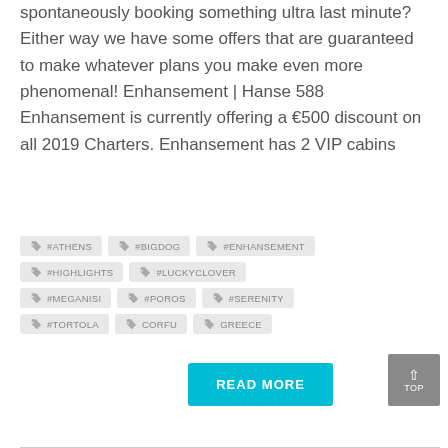spontaneously booking something ultra last minute? Either way we have some offers that are guaranteed to make whatever plans you make even more phenomenal! Enhansement | Hanse 588 Enhansement is currently offering a €500 discount on all 2019 Charters. Enhansement has 2 VIP cabins
#ATHENS
#BIGDOG
#ENHANSEMENT
#HIGHLIGHTS
#LUCKYCLOVER
#MEGANISI
#POROS
#SERENITY
#TORTOLA
CORFU
GREECE
READ MORE